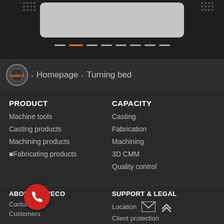[Figure (screenshot): Top dark banner with a rounded rectangle image placeholder, decorative dot patterns on left and right, and a carousel slider indicator with one orange active dot and several grey inactive dots]
[Figure (logo): HAMECO circular logo badge]
> Homepage > Turning bed
PRODUCT
Machine tools
Casting products
Machining products
■Fabricating products
CAPACITY
Casting
Fabrication
Machining
3D CMM
Quality control
ABOUT HAMECO
Contact
Customers
SUPPORT & LEGAL
Location
Client protection